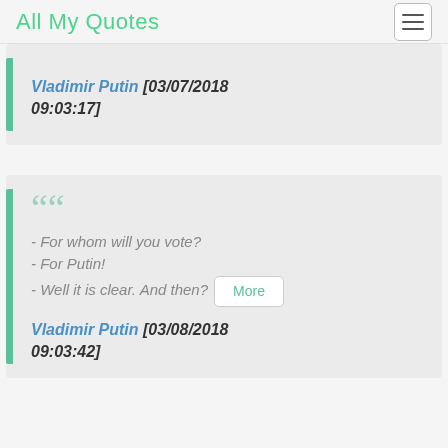All My Quotes
Vladimir Putin [03/07/2018 09:03:17]
- For whom will you vote?
- For Putin!
- Well it is clear. And then? More
Vladimir Putin [03/08/2018 09:03:42]